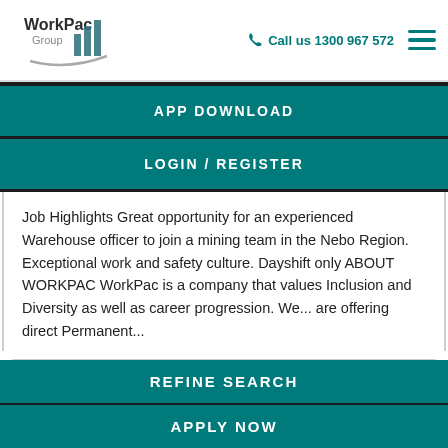WorkPac Group | Call us 1300 967 572
APP DOWNLOAD
LOGIN / REGISTER
Job Highlights Great opportunity for an experienced Warehouse officer to join a mining team in the Nebo Region. Exceptional work and safety culture. Dayshift only ABOUT WORKPAC WorkPac is a company that values Inclusion and Diversity as well as career progression. We... are offering direct Permanent...
SAVE JOB
REFINE SEARCH
APPLY NOW